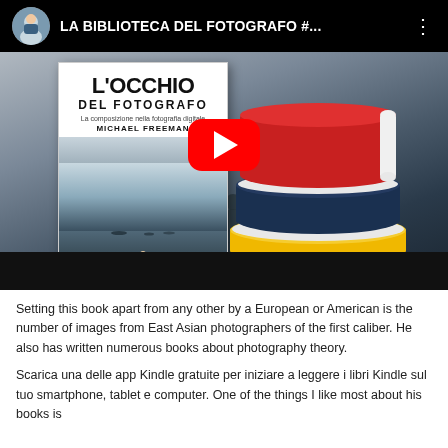[Figure (screenshot): YouTube video thumbnail showing 'LA BIBLIOTECA DEL FOTOGRAFO #...' with a book cover of L'Occhio del Fotografo by Michael Freeman on the left, a stack of illustrated books on the right, and a red YouTube play button in the center. A person silhouette is visible at the bottom center.]
Setting this book apart from any other by a European or American is the number of images from East Asian photographers of the first caliber. He also has written numerous books about photography theory.
Scarica una delle app Kindle gratuite per iniziare a leggere i libri Kindle sul tuo smartphone, tablet e computer. One of the things I like most about his books is